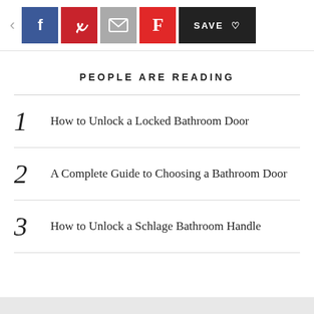< f p [email] F SAVE ♡
PEOPLE ARE READING
1  How to Unlock a Locked Bathroom Door
2  A Complete Guide to Choosing a Bathroom Door
3  How to Unlock a Schlage Bathroom Handle